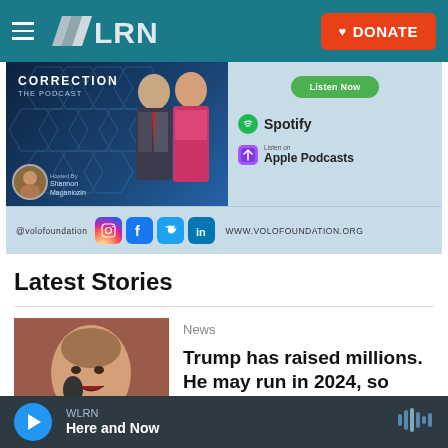WLRN — DONATE
[Figure (screenshot): Advertisement for Correction: The Podcast from Volo Foundation, featuring two hosts, hosted by Shannon Maganiozin. Shows Spotify and Apple Podcasts listen options. Social media handles @volofoundation shown with icons. Website: www.volofoundation.org]
Latest Stories
News
Trump has raised millions. He may run in 2024, so where will all that
WLRN — Here and Now